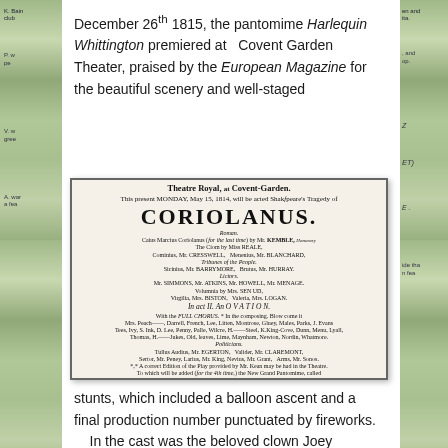December 26th 1815, the pantomime Harlequin Whittington premiered at  Covent Garden Theater, praised by the European Magazine for the beautiful scenery and well-staged
[Figure (photo): Playbill for Theatre Royal, Covent-Garden advertising Coriolanus and Harlequin Whittington, Lord Mayor of London, including a balloon and parachute by Mons. Garnerin and Grand Display of Fireworks by Signor Rugieri]
stunts, which included a balloon ascent and a final production number punctuated by fireworks.    In the cast was the beloved clown Joey Grimaldi who delivered the